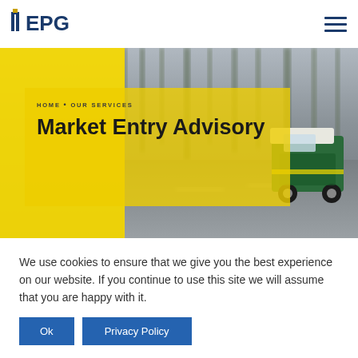EPG logo and navigation
[Figure (photo): A motion-blurred street photo of an auto-rickshaw (tuk-tuk) in India driving on a road with blurred trees in the background. A yellow panel overlays the left side, and a semi-transparent yellow box overlays the center containing breadcrumb navigation and title text.]
HOME • OUR SERVICES
Market Entry Advisory
We use cookies to ensure that we give you the best experience on our website. If you continue to use this site we will assume that you are happy with it.
Ok  Privacy Policy